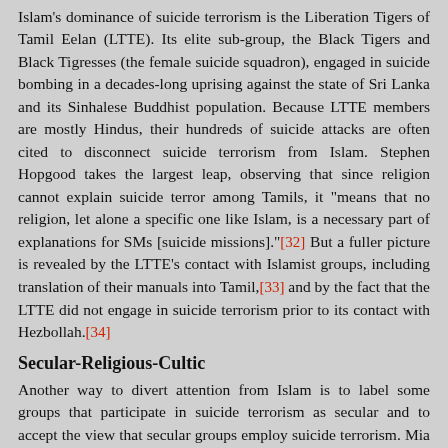Islam's dominance of suicide terrorism is the Liberation Tigers of Tamil Eelan (LTTE). Its elite sub-group, the Black Tigers and Black Tigresses (the female suicide squadron), engaged in suicide bombing in a decades-long uprising against the state of Sri Lanka and its Sinhalese Buddhist population. Because LTTE members are mostly Hindus, their hundreds of suicide attacks are often cited to disconnect suicide terrorism from Islam. Stephen Hopgood takes the largest leap, observing that since religion cannot explain suicide terror among Tamils, it "means that no religion, let alone a specific one like Islam, is a necessary part of explanations for SMs [suicide missions]."[32] But a fuller picture is revealed by the LTTE's contact with Islamist groups, including translation of their manuals into Tamil,[33] and by the fact that the LTTE did not engage in suicide terrorism prior to its contact with Hezbollah.[34]
Secular-Religious-Cultic
Another way to divert attention from Islam is to label some groups that participate in suicide terrorism as secular and to accept the view that secular groups employ suicide terrorism. Mia Bloom declares, "It is a mistake to assume that only religious groups use suicide terror. Many of the groups engaged in equivalently lethal campaigns are decidedly secular."[35]
Unfortunately, most authors present "religious" and "secular" as